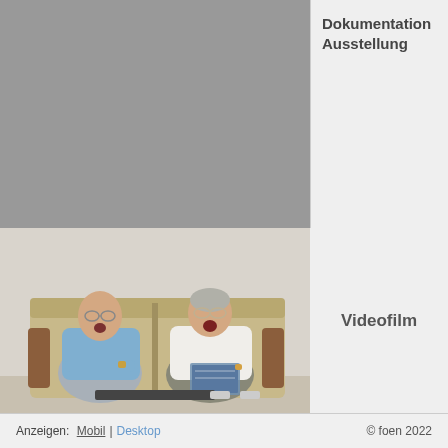Dokumentation Ausstellung
[Figure (photo): Two elderly people sitting in armchairs, smiling with mouths open, man on left in blue shirt with glasses, woman on right in white t-shirt with glasses holding a magazine]
Videofilm
Anzeigen: Mobil | Desktop © foen 2022